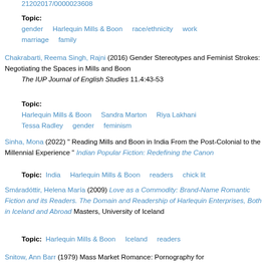21202017/0000023608
Topic: gender    Harlequin Mills & Boon    race/ethnicity    work    marriage    family
Chakrabarti, Reema Singh, Rajni (2016) Gender Stereotypes and Feminist Strokes: Negotiating the Spaces in Mills and Boon The IUP Journal of English Studies 11.4:43-53
Topic: Harlequin Mills & Boon    Sandra Marton    Riya Lakhani    Tessa Radley    gender    feminism
Sinha, Mona (2022) " Reading Mills and Boon in India From the Post-Colonial to the Millennial Experience " Indian Popular Fiction: Redefining the Canon
Topic: India    Harlequin Mills & Boon    readers    chick lit
Smáradóttir, Helena María (2009) Love as a Commodity: Brand-Name Romantic Fiction and its Readers. The Domain and Readership of Harlequin Enterprises, Both in Iceland and Abroad Masters, University of Iceland
Topic: Harlequin Mills & Boon    Iceland    readers
Snitow, Ann Barr (1979) Mass Market Romance: Pornography for